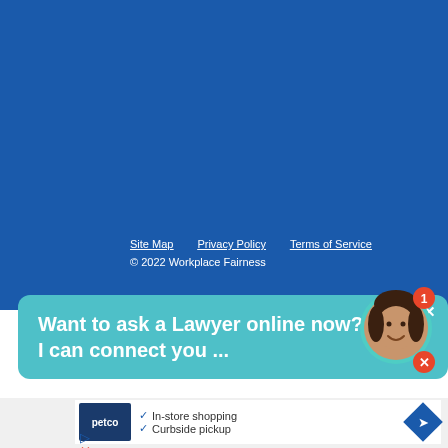[Figure (screenshot): Blue background section of a website footer for Workplace Fairness]
Site Map   Privacy Policy   Terms of Service
© 2022 Workplace Fairness
Want to ask a Lawyer online now? I can connect you ...
[Figure (photo): Chat widget with avatar of a woman, notification badge showing 1, and close button]
[Figure (screenshot): Advertisement for Petco showing In-store shopping and Curbside pickup options]